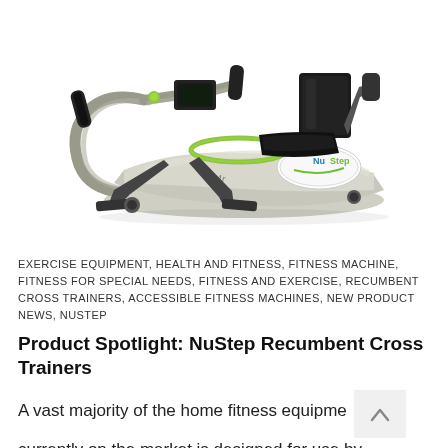[Figure (photo): NuStep T4r recumbent cross trainer exercise machine on white background. Silver/beige body with black seat and backrest, green accent rings, handlebar arms, and NuStep logo on the side panel.]
EXERCISE EQUIPMENT, HEALTH AND FITNESS, FITNESS MACHINE, FITNESS FOR SPECIAL NEEDS, FITNESS AND EXERCISE, RECUMBENT CROSS TRAINERS, ACCESSIBLE FITNESS MACHINES, NEW PRODUCT NEWS, NUSTEP
Product Spotlight: NuStep Recumbent Cross Trainers
A vast majority of the home fitness equipme currently on the market is designed for use by...